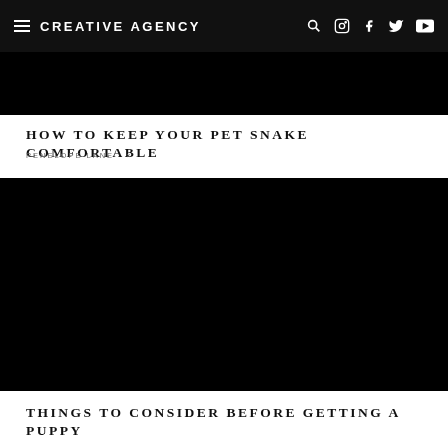CREATIVE AGENCY
[Figure (photo): Black image strip at top of page below navigation header]
HOW TO KEEP YOUR PET SNAKE COMFORTABLE
PENELOPE LANE  ×
[Figure (photo): Large black image placeholder for article]
THINGS TO CONSIDER BEFORE GETTING A PUPPY